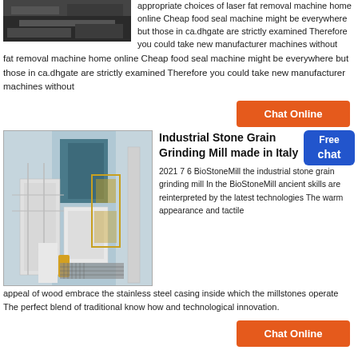[Figure (photo): Top partial image of industrial machinery, dark tones]
appropriate choices of laser fat removal machine home online Cheap food seal machine might be everywhere but those in ca.dhgate are strictly examined Therefore you could take new manufacturer machines without
[Figure (other): Chat Online orange button]
[Figure (photo): Industrial Stone Grain Grinding Mill facility, white metal structure with yellow accents]
Industrial Stone Grain Grinding Mill made in Italy
2021 7 6 BioStoneMill the industrial stone grain grinding mill In the BioStoneMill ancient skills are reinterpreted by the latest technologies The warm appearance and tactile appeal of wood embrace the stainless steel casing inside which the millstones operate The perfect blend of traditional know how and technological innovation.
[Figure (other): Chat Online orange button]